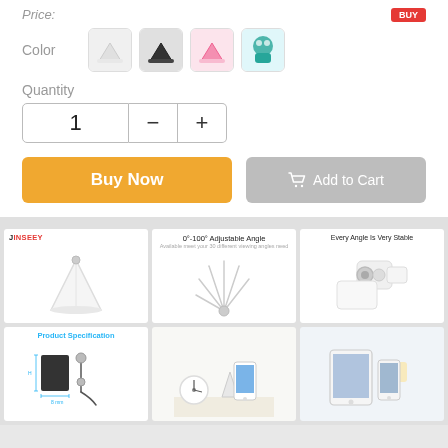Price:
Color
Quantity
1
Buy Now
Add to Cart
[Figure (photo): White phone/tablet stand product photo with JINSEEY logo]
[Figure (photo): 0°-100° Adjustable Angle stand diagram showing multiple angles]
[Figure (photo): Every Angle Is Very Stable - close-up of stand hinge mechanism]
[Figure (photo): Product Specification diagram showing dimensions of black stand]
[Figure (photo): Phone stand in use with smartphone on desk with clock]
[Figure (photo): Stand holding tablet and phone side by side]